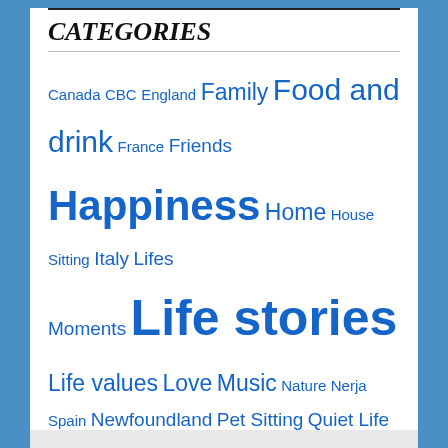CATEGORIES
Canada  CBC  England  Family  Food and drink  France  Friends  Happiness  Home  House Sitting  Italy  Lifes Moments  Life stories  Life values  Love  Music  Nature  Nerja Spain  Newfoundland  Pet Sitting  Quiet Life  Reading  Spain  Spring  St. John's  Sunset  Travel  Uncategorized  Weather  Winter
[Figure (other): WordPress Follow button labeled Follow Aye...brilliant]
LOOKING FOR SOMETHING...